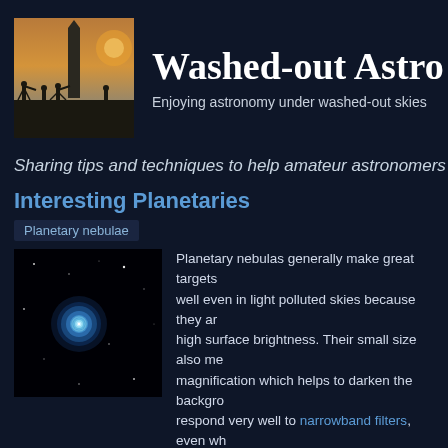[Figure (photo): Logo image of silhouettes of people with telescopes against a twilight sky with a monument]
Washed-out Astro...
Enjoying astronomy under washed-out skies
Sharing tips and techniques to help amateur astronomers
Interesting Planetaries
Planetary nebulae
[Figure (photo): Dark field image showing a bright blue-white planetary nebula (appears to be the Blue Snowball or similar) with scattered stars on a black background]
Planetary nebulas generally make great targets well even in light polluted skies because they are high surface brightness. Their small size also me magnification which helps to darken the backgro respond very well to narrowband filters, even wh Hitchcock and Bob Cowart/Adam Block/AURA/N
Famous planetaries like the Dumbbell Nebula (M27) and the Ring Ne astronomers and are spectacular objects even in light-polluted skies. nebulas well positioned in the sky for urban observers. Here is a list o